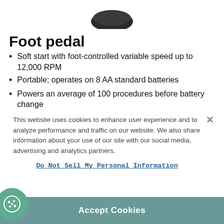[Figure (photo): Partial view of a dark-colored foot pedal device at the top of the page]
Foot pedal
Soft start with foot-controlled variable speed up to 12,000 RPM
Portable; operates on 8 AA standard batteries
Powers an average of 100 procedures before battery change
Auto-off energy saver if unused for 15 minutes
Colored/flashing LEDs indicate power on, fault or battery low
This website uses cookies to enhance user experience and to analyze performance and traffic on our website. We also share information about your use of our site with our social media, advertising and analytics partners.
Do Not Sell My Personal Information
Accept Cookies
utting accessories